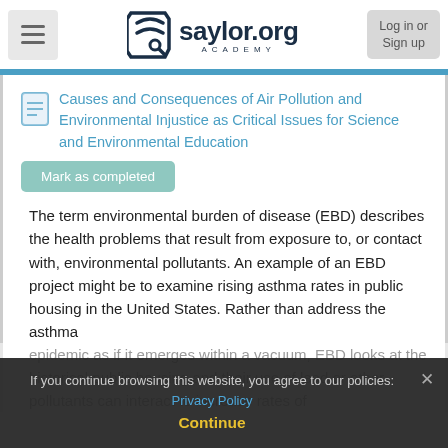saylor.org ACADEMY — Log in or Sign up
Causes and Consequences of Air Pollution and Environmental Injustice as Critical Issues for Science and Environmental Education
Mark as completed
The term environmental burden of disease (EBD) describes the health problems that result from exposure to, or contact with, environmental pollutants. An example of an EBD project might be to examine rising asthma rates in public housing in the United States. Rather than address the asthma epidemic as if it emerges within a vacuum, EBD looks at the historical public housing and their use of lead or other pollutants can interact to increase rates of
If you continue browsing this website, you agree to our policies: Privacy Policy Continue